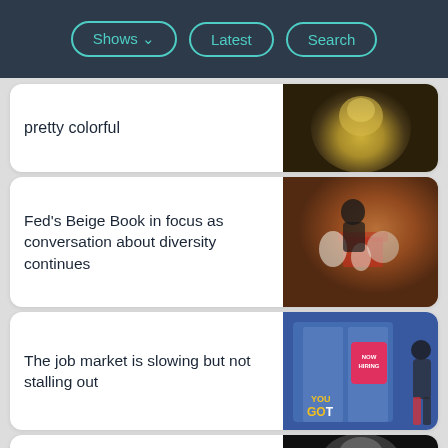Shows | Latest | Search
pretty colorful
[Figure (photo): Blurry portrait with yellow/warm tones, person in soft focus]
Fed's Beige Book in focus as conversation about diversity continues
[Figure (photo): People with masks shopping in grocery store with red shopping carts]
The job market is slowing but not stalling out
[Figure (photo): Storefront with 'NOW HIRING' sign on glass door, person outside]
It's that time again: the Fed's Beige